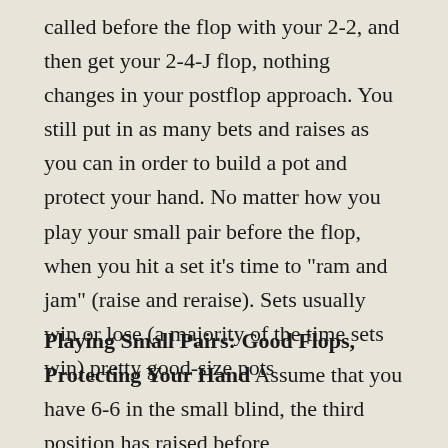called before the flop with your 2-2, and then get your 2-4-J flop, nothing changes in your postflop approach. You still put in as many bets and raises as you can in order to build a pot and protect your hand. No matter how you play your small pair before the flop, when you hit a set it’s time to “ram and jam” (raise and reraise). Sets usually win or lose (a majority of the time sets win) pretty good-size pots
Playing Small Pairs: Good Flops, Protecting Your Hand
Assume that you have 6-6 in the small blind, the third position has raised before